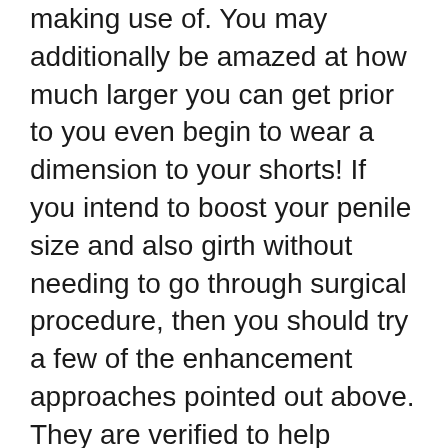making use of. You may additionally be amazed at how much larger you can get prior to you even begin to wear a dimension to your shorts! If you intend to boost your penile size and also girth without needing to go through surgical procedure, then you should try a few of the enhancement approaches pointed out above. They are verified to help numerous men.
Among the most typical penis augmentation techniques that men use involves using grip tools. Traction gadgets work by using continuous stress to the organ. When this continual stress is used, the body responds by generating the lubrication that is needed for appropriate development. This lubrication helps the tissues in the penis expand and